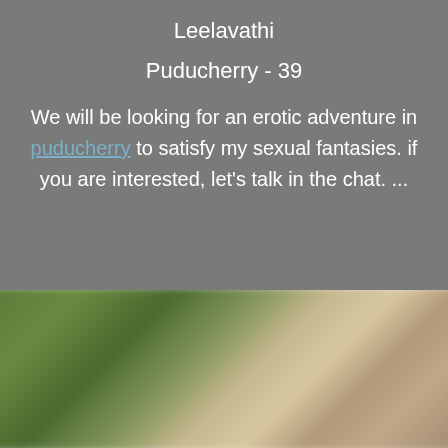Leelavathi
Puducherry - 39
We will be looking for an erotic adventure in puducherry to satisfy my sexual fantasies. if you are interested, let's talk in the chat. ...
[Figure (photo): Blurred outdoor photograph showing greenery and a person, heavily blurred for privacy]